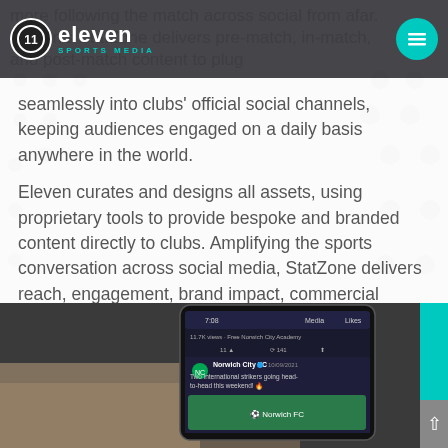Eleven Sports Media
more following the match across social from afar. Eleven's StatZone delivers pre-match, in-match, and post-match content to plug seamlessly into clubs' official social channels, keeping audiences engaged on a daily basis anywhere in the world.
Eleven curates and designs all assets, using proprietary tools to provide bespoke and branded content directly to clubs. Amplifying the sports conversation across social media, StatZone delivers reach, engagement, brand impact, commercial value, and fan interaction.
[Figure (photo): A hand holding a smartphone displaying a social media feed showing a Norwich City FC post dated 10/09/2021 about two international strikers. The phone screen shows views and likes statistics.]